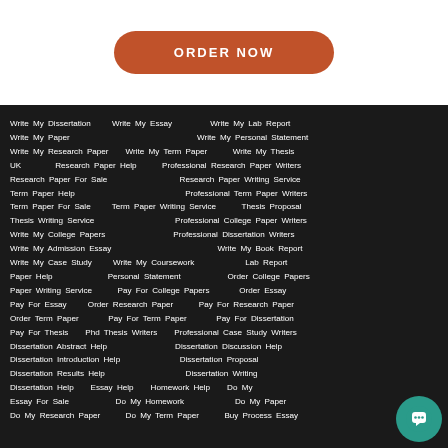[Figure (other): Orange rounded rectangle button with white uppercase text ORDER NOW]
Write My Dissertation   Write My Essay   Write My Lab Report
Write My Paper   Write My Personal Statement
Write My Research Paper   Write My Term Paper   Write My Thesis
UK   Research Paper Help   Professional Research Paper Writers
Research Paper For Sale   Research Paper Writing Service
Term Paper Help   Professional Term Paper Writers
Term Paper For Sale   Term Paper Writing Service   Thesis Proposal
Thesis Writing Service   Professional College Paper Writers
Write My College Papers   Professional Dissertation Writers
Write My Admission Essay   Write My Book Report
Write My Case Study   Write My Coursework   Lab Report
Paper Help   Personal Statement   Order College Papers
Paper Writing Service   Pay For College Papers   Order Essay
Pay For Essay   Order Research Paper   Pay For Research Paper
Order Term Paper   Pay For Term Paper   Pay For Dissertation
Pay For Thesis   Phd Thesis Writers   Professional Case Study Writers
Dissertation Abstract Help   Dissertation Discussion Help
Dissertation Introduction Help   Dissertation Proposal
Dissertation Results Help   Dissertation Writing
Dissertation Help   Essay Help   Homework Help   Do My
Essay For Sale   Do My Homework   Do My Paper
Do My Research Paper   Do My Term Paper   Buy Process Essay